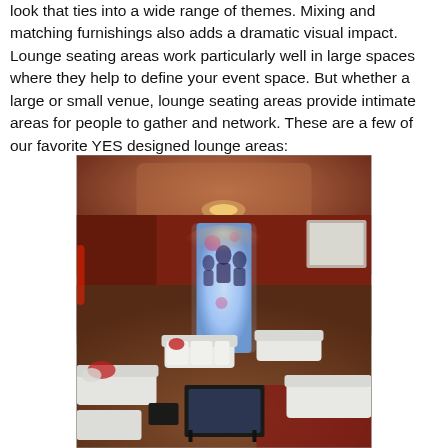look that ties into a wide range of themes. Mixing and matching furnishings also adds a dramatic visual impact. Lounge seating areas work particularly well in large spaces where they help to define your event space. But whether a large or small venue, lounge seating areas provide intimate areas for people to gather and network. These are a few of our favorite YES designed lounge areas:
[Figure (photo): Interior photo of a large event venue styled as a lounge area. White sofas and ottomans are arranged around a glowing illuminated display tower/pillar in the center showing silhouettes of people. The space has warm red ambient lighting, a patterned carpet, and a projection screen visible on the right side. Low black coffee tables are placed in front of seating areas.]